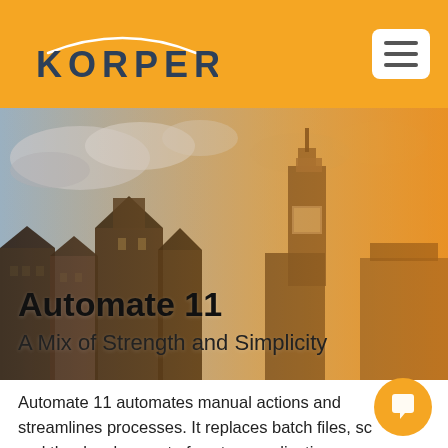KORPER
[Figure (photo): Aerial/street view of Amsterdam-style canal buildings with dramatic cloudy sky and warm orange tint overlay. Historic Dutch architecture with tower and stepped gable rooftops.]
Automate 11
A Mix of Strength and Simplicity
Automate 11 automates manual actions and streamlines processes. It replaces batch files, sc and the development of custom applications.